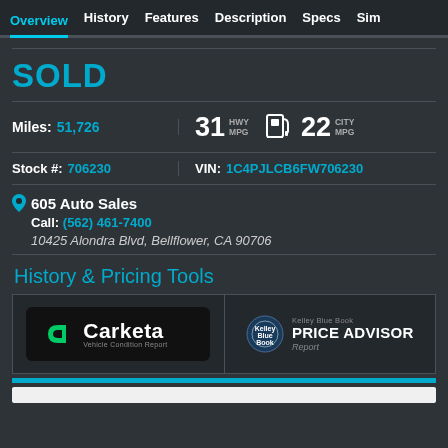Overview  History  Features  Description  Specs  Sim
SOLD
Miles: 51,726  |  31 HWY MPG  [fuel icon]  22 CITY MPG
Stock #: 706230  |  VIN: 1C4PJLCB6FW706230
605 Auto Sales
Call: (562) 461-7400
10425 Alondra Blvd, Bellflower, CA 90706
History & Pricing Tools
[Figure (logo): Carketa Vehicle Condition Report logo]
[Figure (logo): Kelley Blue Book Price Advisor Report logo]